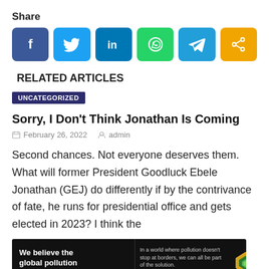Share
[Figure (infographic): Six social share buttons: Facebook (dark blue), Twitter (light blue), LinkedIn (teal/blue), WhatsApp (green), Telegram (blue), Share (orange)]
RELATED ARTICLES
UNCATEGORIZED
Sorry, I Don't Think Jonathan Is Coming
February 26, 2022   admin
Second chances. Not everyone deserves them. What will former President Goodluck Ebele Jonathan (GEJ) do differently if by the contrivance of fate, he runs for presidential office and gets elected in 2023? I think the
[Figure (infographic): Pure Earth advertisement banner: 'We believe the global pollution crisis can be solved. In a world where pollution doesn't stop at borders, we can all be part of the solution. JOIN US.' with Pure Earth logo.]